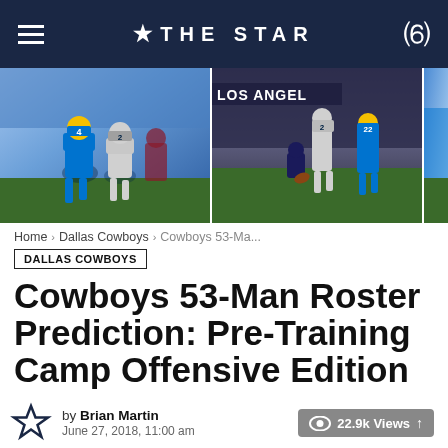★ THE STAR
[Figure (photo): Three football game photos showing Dallas Cowboys vs LA Chargers players in action]
Home › Dallas Cowboys › Cowboys 53-Ma...
DALLAS COWBOYS
Cowboys 53-Man Roster Prediction: Pre-Training Camp Offensive Edition
by Brian Martin
June 27, 2018, 11:00 am
22.9k Views